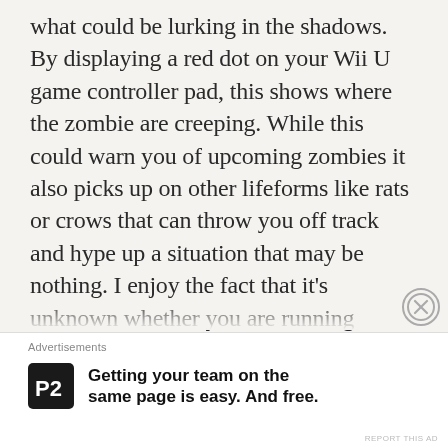what could be lurking in the shadows. By displaying a red dot on your Wii U game controller pad, this shows where the zombie are creeping.  While this could warn you of upcoming zombies it also picks up on other lifeforms like rats or crows that can throw you off track and hype up a situation that may be nothing.  I enjoy the fact that it's unknown whether you are running headfirst into the undead or some misleading creature.  You can also scan behind doors with your gamepad which will update your map to a new area and get rid of the map for a previous one.  Once again I feel like this is a more realistic approach and an interactive on-screen map is a
Advertisements
Getting your team on the same page is easy. And free.